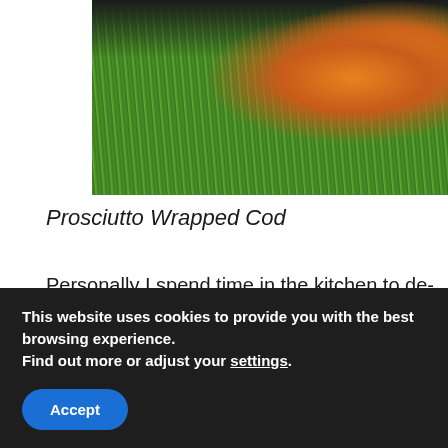[Figure (photo): Close-up photo of a food dish showing green beans and prosciutto wrapped cod with sauce on a dark plate]
Prosciutto Wrapped Cod
Personally I spend time in the kitchen to de-stress. I love nothing more than spending hours chopping, prepping, mixing, measuring, baking etc. I don't so much like the cleaning up as my better half will testify. Thankfully he tends not to complain about
This website uses cookies to provide you with the best browsing experience.
Find out more or adjust your settings.
Accept